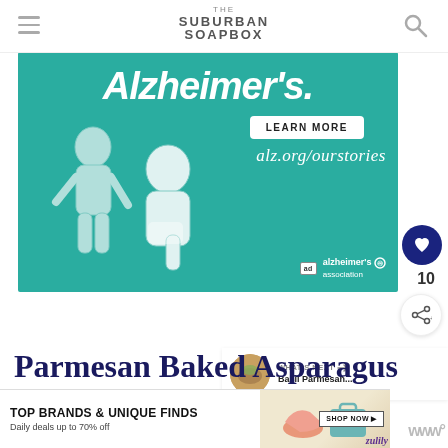THE SUBURBAN SOAPBOX
[Figure (illustration): Alzheimer's Association advertisement banner with teal background showing two illustrated elderly people, text 'Alzheimer's.', 'LEARN MORE' button, 'alz.org/ourstories' URL, and Alzheimer's Association logo]
10
WHAT'S NEXT → Basil Parmesan...
Parmesan Baked Asparagus
[Figure (illustration): Bottom advertisement banner for Zulily: 'TOP BRANDS & UNIQUE FINDS - Daily deals up to 70% off' with SHOP NOW button and product images]